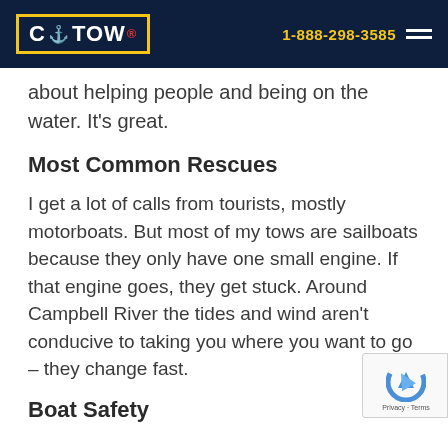C TOW | 1-888-298-3585
about helping people and being on the water. It's great.
Most Common Rescues
I get a lot of calls from tourists, mostly motorboats. But most of my tows are sailboats because they only have one small engine. If that engine goes, they get stuck. Around Campbell River the tides and wind aren't conducive to taking you where you want to go – they change fast.
Boat Safety